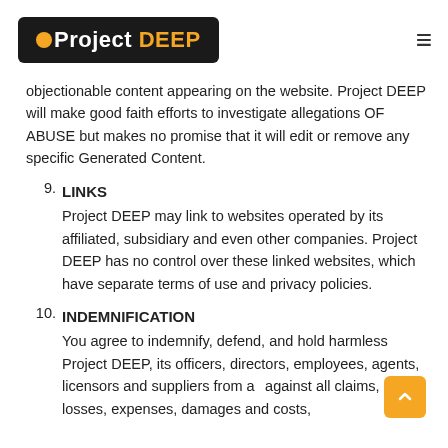Project DEEP
objectionable content appearing on the website. Project DEEP will make good faith efforts to investigate allegations OF ABUSE but makes no promise that it will edit or remove any specific Generated Content.
9. LINKS
Project DEEP may link to websites operated by its affiliated, subsidiary and even other companies. Project DEEP has no control over these linked websites, which have separate terms of use and privacy policies.
10. INDEMNIFICATION
You agree to indemnify, defend, and hold harmless Project DEEP, its officers, directors, employees, agents, licensors and suppliers from a...against all claims, losses, expenses, damages and costs,